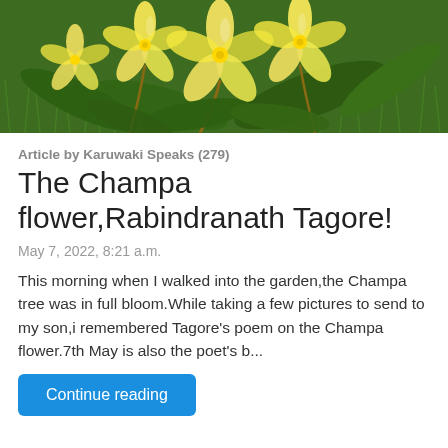[Figure (photo): Photograph of yellow champa (plumeria) flowers against a green grass background]
Article by Karuwaki Speaks (279)
The Champa flower,Rabindranath Tagore!
May 7, 2022, 8:21 a.m.
This morning when I walked into the garden,the Champa tree was in full bloom.While taking a few pictures to send to my son,i remembered Tagore's poem on the Champa flower.7th May is also the poet's b...
Continue reading